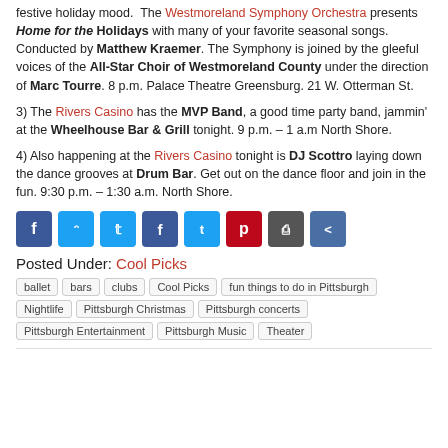festive holiday mood. The Westmoreland Symphony Orchestra presents Home for the Holidays with many of your favorite seasonal songs. Conducted by Matthew Kraemer. The Symphony is joined by the gleeful voices of the All-Star Choir of Westmoreland County under the direction of Marc Tourre. 8 p.m. Palace Theatre Greensburg. 21 W. Otterman St.
3) The Rivers Casino has the MVP Band, a good time party band, jammin' at the Wheelhouse Bar & Grill tonight. 9 p.m. – 1 a.m North Shore.
4) Also happening at the Rivers Casino tonight is DJ Scottro laying down the dance grooves at Drum Bar. Get out on the dance floor and join in the fun. 9:30 p.m. – 1:30 a.m. North Shore.
[Figure (other): Social sharing buttons: Facebook, Twitter, Pinterest, Print, Share]
Posted Under: Cool Picks
Tags: ballet, bars, clubs, Cool Picks, fun things to do in Pittsburgh, Nightlife, Pittsburgh Christmas, Pittsburgh concerts, Pittsburgh Entertainment, Pittsburgh Music, Theater